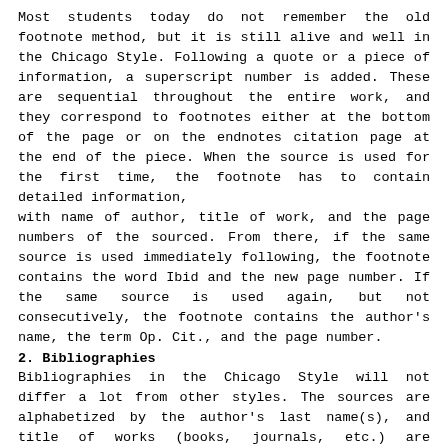Most students today do not remember the old footnote method, but it is still alive and well in the Chicago Style. Following a quote or a piece of information, a superscript number is added. These are sequential throughout the entire work, and they correspond to footnotes either at the bottom of the page or on the endnotes citation page at the end of the piece. When the source is used for the first time, the footnote has to contain detailed information, with name of author, title of work, and the page numbers of the sourced. From there, if the same source is used immediately following, the footnote contains the word Ibid and the new page number. If the same source is used again, but not consecutively, the footnote contains the author's name, the term Op. Cit., and the page number.
2. Bibliographies
Bibliographies in the Chicago Style will not differ a lot from other styles. The sources are alphabetized by the author's last name(s), and title of works (books, journals, etc.) are italicized. Articles and many Internet-based resources are placed in quotation marks. Place of publication, date of